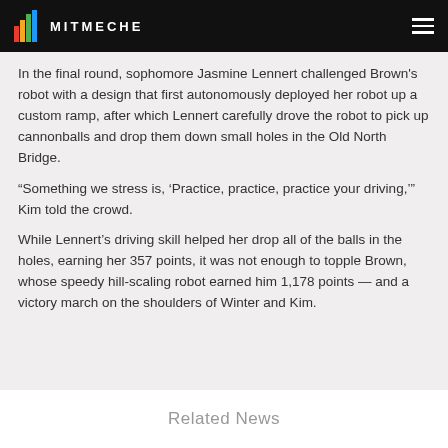MITMECHE
In the final round, sophomore Jasmine Lennert challenged Brown's robot with a design that first autonomously deployed her robot up a custom ramp, after which Lennert carefully drove the robot to pick up cannonballs and drop them down small holes in the Old North Bridge.
“Something we stress is, ‘Practice, practice, practice your driving,’” Kim told the crowd.
While Lennert’s driving skill helped her drop all of the balls in the holes, earning her 357 points, it was not enough to topple Brown, whose speedy hill-scaling robot earned him 1,178 points — and a victory march on the shoulders of Winter and Kim.
Related News